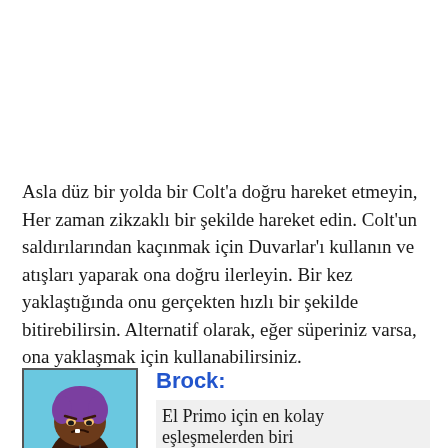Asla düz bir yolda bir Colt'a doğru hareket etmeyin, Her zaman zikzaklı bir şekilde hareket edin. Colt'un saldırılarından kaçınmak için Duvarlar'ı kullanın ve atışları yaparak ona doğru ilerleyin. Bir kez yaklaştığında onu gerçekten hızlı bir şekilde bitirebilirsin. Alternatif olarak, eğer süperiniz varsa, ona yaklaşmak için kullanabilirsiniz.
[Figure (illustration): Character portrait of Brock from Brawl Stars — dark-skinned character with purple hair, angry expression, light blue background. Label 'BROCK' at bottom.]
Brock:
El Primo için en kolay eşleşmelerden biri